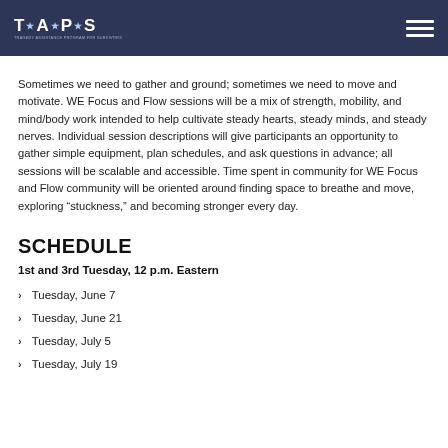TAPS logo and navigation
Sometimes we need to gather and ground; sometimes we need to move and motivate. WE Focus and Flow sessions will be a mix of strength, mobility, and mind/body work intended to help cultivate steady hearts, steady minds, and steady nerves. Individual session descriptions will give participants an opportunity to gather simple equipment, plan schedules, and ask questions in advance; all sessions will be scalable and accessible. Time spent in community for WE Focus and Flow community will be oriented around finding space to breathe and move, exploring “stuckness,” and becoming stronger every day.
SCHEDULE
1st and 3rd Tuesday, 12 p.m. Eastern
Tuesday, June 7
Tuesday, June 21
Tuesday, July 5
Tuesday, July 19